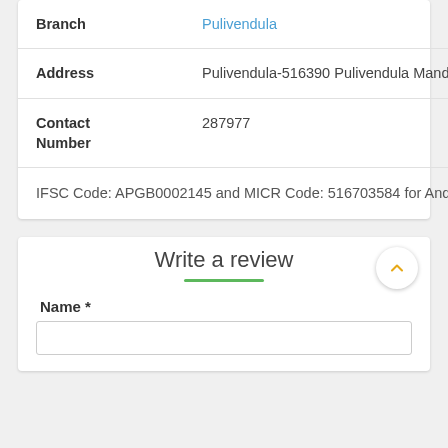| Field | Value |
| --- | --- |
| Branch | Pulivendula |
| Address | Pulivendula-516390 Pulivendula Mandal Kadapa District |
| Contact Number | 287977 |
|  | IFSC Code: APGB0002145 and MICR Code: 516703584 for Andhra Pragathi Grameena Bank, Located at Pulivendula-516390 Pulivendula Mandal Kadapa District, Cuddapah, Andhra Pradesh |
Write a review
Name *